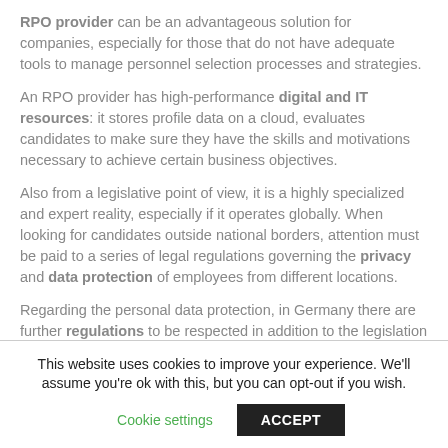RPO provider can be an advantageous solution for companies, especially for those that do not have adequate tools to manage personnel selection processes and strategies.
An RPO provider has high-performance digital and IT resources: it stores profile data on a cloud, evaluates candidates to make sure they have the skills and motivations necessary to achieve certain business objectives.
Also from a legislative point of view, it is a highly specialized and expert reality, especially if it operates globally. When looking for candidates outside national borders, attention must be paid to a series of legal regulations governing the privacy and data protection of employees from different locations.
Regarding the personal data protection, in Germany there are further regulations to be respected in addition to the legislation valid for all European citizens, also known as the General Data
This website uses cookies to improve your experience. We'll assume you're ok with this, but you can opt-out if you wish.
Cookie settings | ACCEPT